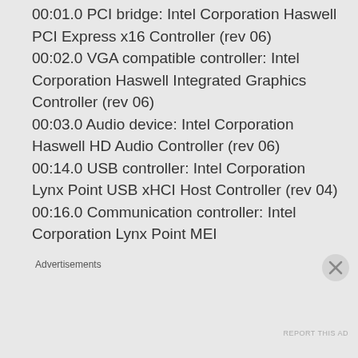00:01.0 PCI bridge: Intel Corporation Haswell PCI Express x16 Controller (rev 06) 00:02.0 VGA compatible controller: Intel Corporation Haswell Integrated Graphics Controller (rev 06) 00:03.0 Audio device: Intel Corporation Haswell HD Audio Controller (rev 06) 00:14.0 USB controller: Intel Corporation Lynx Point USB xHCI Host Controller (rev 04) 00:16.0 Communication controller: Intel Corporation Lynx Point MEI
Advertisements